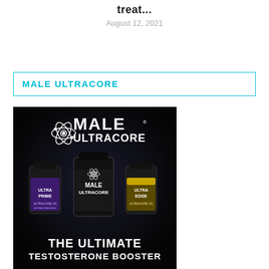treat...
August 12, 2021
MALE ULTRACORE
[Figure (photo): Male Ultracore product photo showing three supplement bottles (Ultra Prime, Male Ultracore, Ultra Edge) on a dark background with text 'THE ULTIMATE TESTOSTERONE BOOSTER']